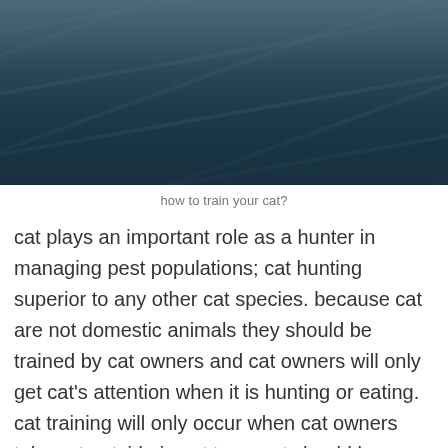[Figure (photo): Dark teal/blue atmospheric photo, appears to show water or forest scene with light streaks]
how to train your cat?
cat plays an important role as a hunter in managing pest populations; cat hunting superior to any other cat species. because cat are not domestic animals they should be trained by cat owners and cat owners will only get cat's attention when it is hunting or eating. cat training will only occur when cat owners take cat outside in cat toys, cat should be trained to play cat games. cat also needs cat stimulus. cats are less